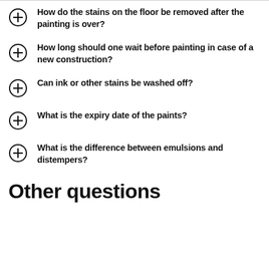How do the stains on the floor be removed after the painting is over?
How long should one wait before painting in case of a new construction?
Can ink or other stains be washed off?
What is the expiry date of the paints?
What is the difference between emulsions and distempers?
Other questions